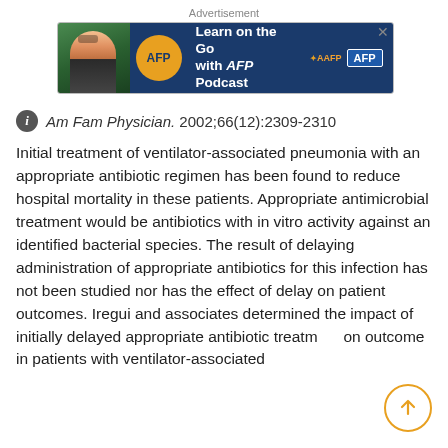Advertisement
[Figure (illustration): Advertisement banner for AFP Podcast: 'Learn on the Go with AFP Podcast' with AAFP and AFP logos on dark blue background]
Am Fam Physician. 2002;66(12):2309-2310
Initial treatment of ventilator-associated pneumonia with an appropriate antibiotic regimen has been found to reduce hospital mortality in these patients. Appropriate antimicrobial treatment would be antibiotics with in vitro activity against an identified bacterial species. The result of delaying administration of appropriate antibiotics for this infection has not been studied nor has the effect of delay on patient outcomes. Iregui and associates determined the impact of initially delayed appropriate antibiotic treatment on outcome in patients with ventilator-associated